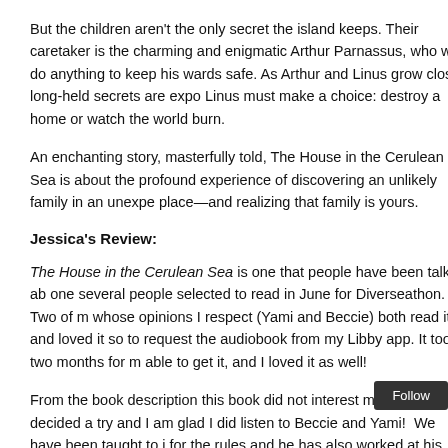But the children aren't the only secret the island keeps. Their caretaker is the charming and enigmatic Arthur Parnassus, who will do anything to keep his wards safe. As Arthur and Linus grow closer, long-held secrets are exposed and Linus must make a choice: destroy a home or watch the world burn.
An enchanting story, masterfully told, The House in the Cerulean Sea is about the profound experience of discovering an unlikely family in an unexpected place—and realizing that family is yours.
Jessica's Review:
The House in the Cerulean Sea is one that people have been talking about, and one several people selected to read in June for Diverseathon. Two of my friends whose opinions I respect (Yami and Beccie) both read it and loved it so I decided to request the audiobook from my Libby app. It took two months for me to be able to get it, and I loved it as well!
From the book description this book did not interest me. But I decided to give it a try and I am glad I did listen to Beccie and Yami! We have been taught to follow the rules and he has also worked at his government job...